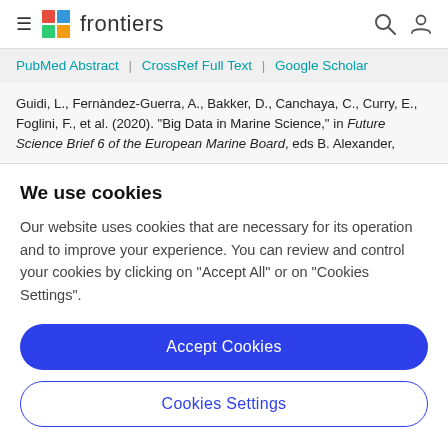frontiers
PubMed Abstract | CrossRef Full Text | Google Scholar
Guidi, L., Fernàndez-Guerra, A., Bakker, D., Canchaya, C., Curry, E., Foglini, F., et al. (2020). "Big Data in Marine Science," in Future Science Brief 6 of the European Marine Board, eds B. Alexander,
We use cookies
Our website uses cookies that are necessary for its operation and to improve your experience. You can review and control your cookies by clicking on "Accept All" or on "Cookies Settings".
Accept Cookies
Cookies Settings